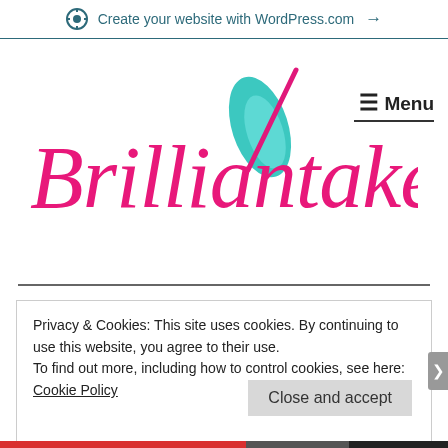Create your website with WordPress.com →
[Figure (logo): Brilliantakes logo: pink cursive text 'Brilliantakes' with a teal feather and pink/magenta diagonal pen stroke overlaid on the 'k']
☰ Menu
Privacy & Cookies: This site uses cookies. By continuing to use this website, you agree to their use.
To find out more, including how to control cookies, see here: Cookie Policy
Close and accept